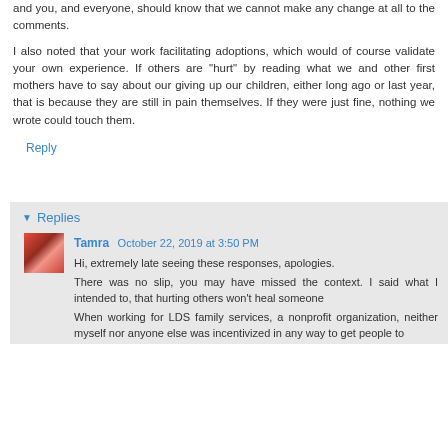and you, and everyone, should know that we cannot make any change at all to the comments.
I also noted that your work facilitating adoptions, which would of course validate your own experience. If others are "hurt" by reading what we and other first mothers have to say about our giving up our children, either long ago or last year, that is because they are still in pain themselves. If they were just fine, nothing we wrote could touch them.
Reply
Replies
Tamra October 22, 2019 at 3:50 PM
Hi, extremely late seeing these responses, apologies. There was no slip, you may have missed the context. I said what I intended to, that hurting others won't heal someone When working for LDS family services, a nonprofit organization, neither myself nor anyone else was incentivized in any way to get people to